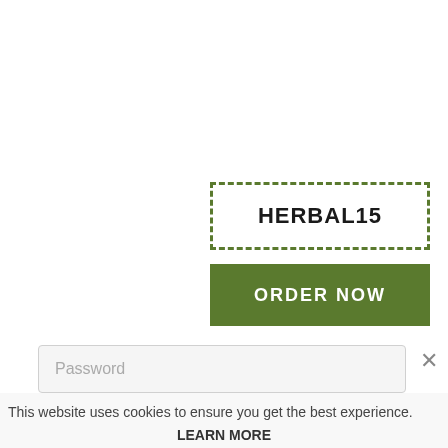HERBAL15
ORDER NOW
Password
×
This website uses cookies to ensure you get the best experience.
LEARN MORE
GOT IT!